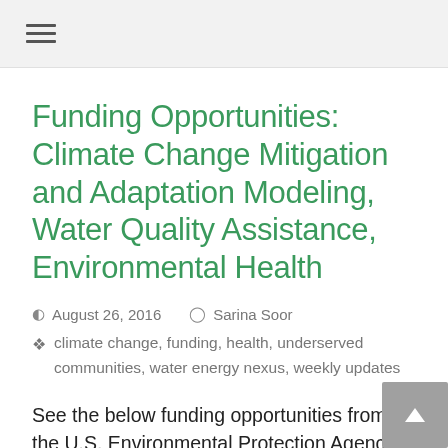≡
Funding Opportunities: Climate Change Mitigation and Adaptation Modeling, Water Quality Assistance, Environmental Health
August 26, 2016   Sarina Soor
climate change, funding, health, underserved communities, water energy nexus, weekly updates
See the below funding opportunities from the U.S. Environmental Protection Agency and National